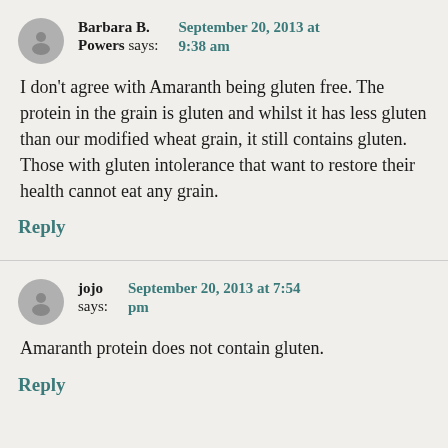Barbara B. Powers says: September 20, 2013 at 9:38 am
I don't agree with Amaranth being gluten free. The protein in the grain is gluten and whilst it has less gluten than our modified wheat grain, it still contains gluten. Those with gluten intolerance that want to restore their health cannot eat any grain.
Reply
jojo says: September 20, 2013 at 7:54 pm
Amaranth protein does not contain gluten.
Reply